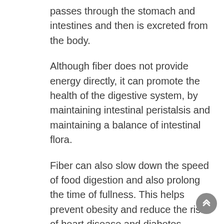passes through the stomach and intestines and then is excreted from the body.
Although fiber does not provide energy directly, it can promote the health of the digestive system, by maintaining intestinal peristalsis and maintaining a balance of intestinal flora.
Fiber can also slow down the speed of food digestion and also prolong the time of fullness. This helps prevent obesity and reduce the risk of heart disease and diabetes.
Scientists and nutritionists once divided carbohydrates into two types: